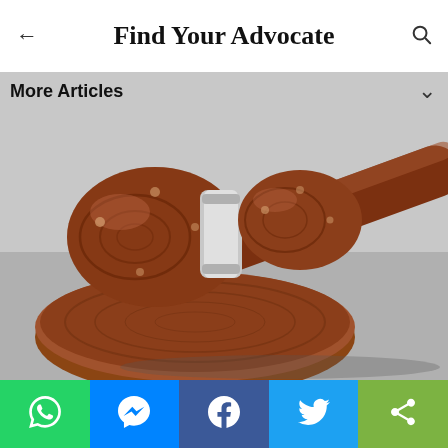Find Your Advocate
More Articles
[Figure (photo): A wooden judge's gavel resting on a circular wooden sound block on a gray surface, close-up view]
Share buttons: WhatsApp, Messenger, Facebook, Twitter, More